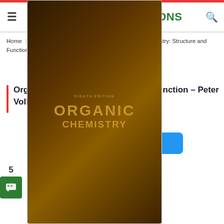TEXTBOOKS.SOLUTIONS
Home | Chemistry | Organic Chemistry | Organic Chemistry: Structure and Function – Peter Vollhardt – 8th Edition
Organic Chemistry: Structure and Function – Peter Vollhardt – 8th Edition
Download PDF
Downloads
[Figure (photo): Cover of Organic Chemistry textbook showing dark brown/gold background with 'EIGHTH EDITION' at top, 'ORGANIC CHEMISTRY' in large gold letters]